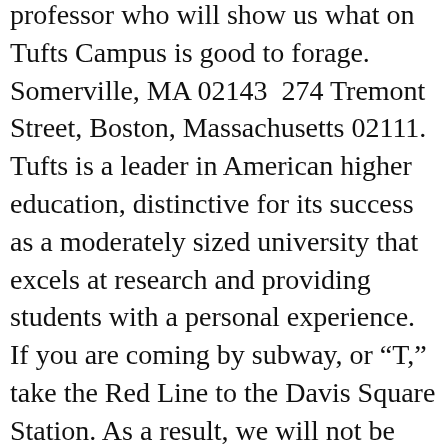professor who will show us what on Tufts Campus is good to forage. Somerville, MA 02143  274 Tremont Street, Boston, Massachusetts 02111. Tufts is a leader in American higher education, distinctive for its success as a moderately sized university that excels at research and providing students with a personal experience. If you are coming by subway, or “T,” take the Red Line to the Davis Square Station. As a result, we will not be holding any on-campus tours or information sessions until further notice. View Fullscreen Version of Map By Tufts Digital Services / Office of Communications & Marketing. *Please note that, due to the impact of COVID-19, our campus is closed to visitors, and admissions appointments are being conducted by ... 781-395-8500, LaQuinta Inn & Suites Somerville, MA 02145  RSS Feeds. Turn left at the first intersection onto